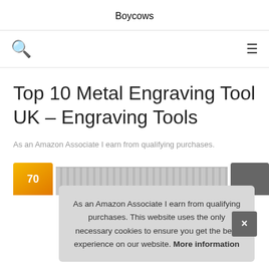Boycows
Top 10 Metal Engraving Tool UK – Engraving Tools
As an Amazon Associate I earn from qualifying purchases.
1.
As an Amazon Associate I earn from qualifying purchases. This website uses the only necessary cookies to ensure you get the best experience on our website. More information
[Figure (screenshot): Bottom strip showing product images including a gold badge with '70' text, a barcode-like product image strip, and a person silhouette]